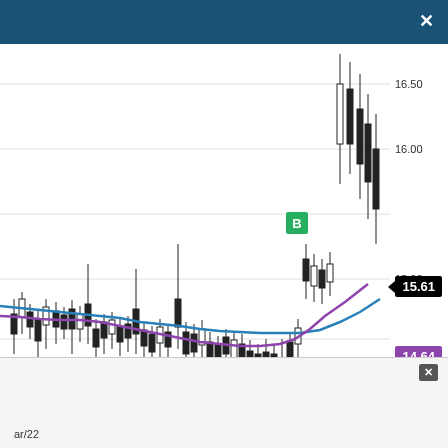[Figure (continuous-plot): Candlestick stock chart with two moving average lines (blue and purple/magenta). Price range approximately 13.50 to 16.50+. A green 'B' marker appears near the top right area around 15.00. Current price label shows 15.61 in black. Purple MA shows 14.64, Blue MA shows 14.41. The chart shows a long sideways consolidation period followed by a sharp upward breakout to the right side near 16.50. A sub-panel is present at the bottom.]